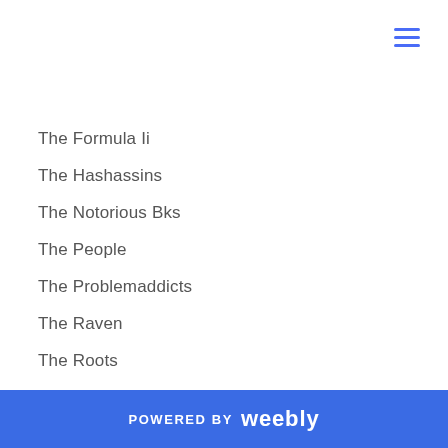The Formula Ii
The Hashassins
The Notorious Bks
The People
The Problemaddicts
The Raven
The Roots
The Spotlight
The Underachievers
Thirtyseven
Token
Tony Moreaux
Toys For Tots Benefit
Tragedy The Beast
POWERED BY weebly